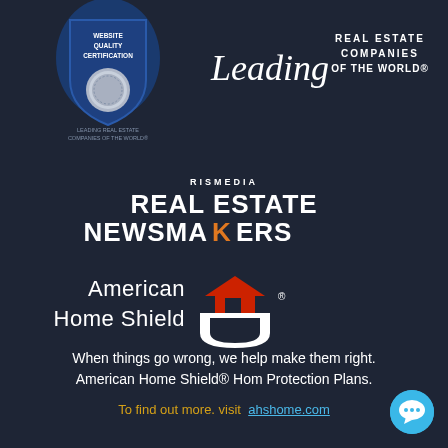[Figure (logo): Website Quality Certification badge with silver medal, Leading Real Estate Companies of the World logo]
[Figure (logo): RISMedia Real Estate Newsmakers logo]
[Figure (logo): American Home Shield logo with red house icon]
When things go wrong, we help make them right. American Home Shield® Hom Protection Plans.
To find out more. visit   ahshome.com